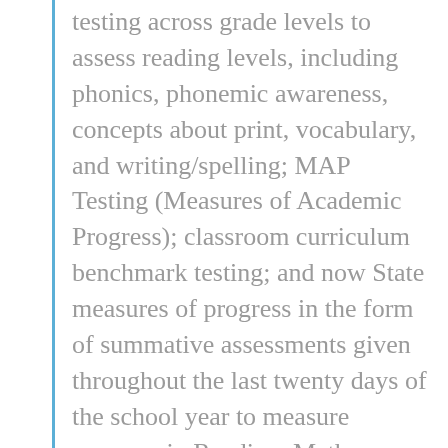testing across grade levels to assess reading levels, including phonics, phonemic awareness, concepts about print, vocabulary, and writing/spelling; MAP Testing (Measures of Academic Progress); classroom curriculum benchmark testing; and now State measures of progress in the form of summative assessments given throughout the last twenty days of the school year to measure progress in Reading, Math, Science and Social Studies.